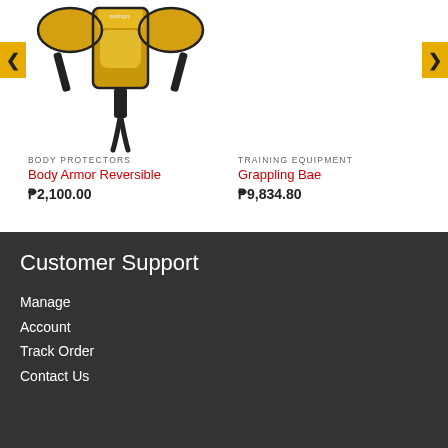[Figure (photo): Yellow body armor reversible product photo on white background]
BODY PROTECTORS
Body Armor Reversible
₱2,100.00
TRAINING EQUIPMENT
Grappling Bae
₱9,834.80
Customer Support
Manage
Account
Track Order
Contact Us